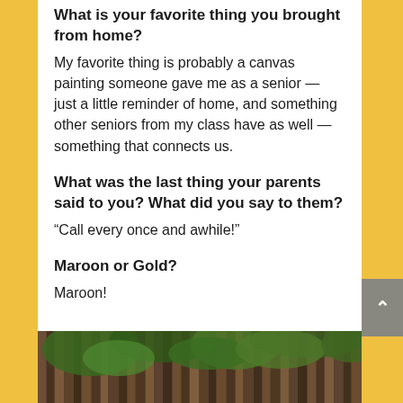What is your favorite thing you brought from home?
My favorite thing is probably a canvas painting someone gave me as a senior — just a little reminder of home, and something other seniors from my class have as well — something that connects us.
What was the last thing your parents said to you? What did you say to them?
“Call every once and awhile!”
Maroon or Gold?
Maroon!
[Figure (photo): Outdoor photo showing green foliage/plants in front of vertical wooden fence or wall planks, partially cropped at bottom of page]